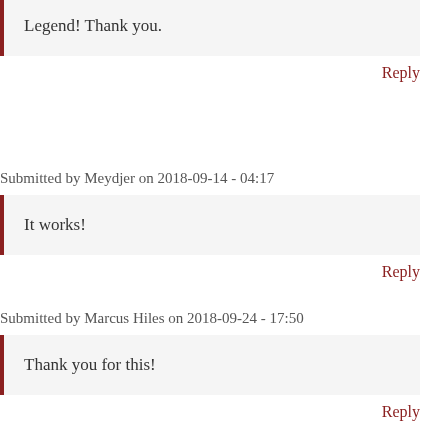Legend! Thank you.
Reply
Submitted by Meydjer on 2018-09-14 - 04:17
It works!
Reply
Submitted by Marcus Hiles on 2018-09-24 - 17:50
Thank you for this!
Reply